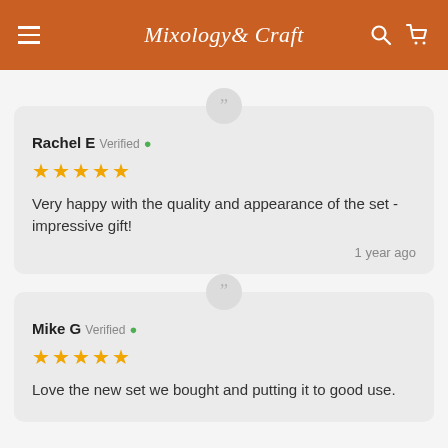Mixology & Craft
Rachel E Verified ✓
★★★★★
Very happy with the quality and appearance of the set - impressive gift!
1 year ago
Mike G Verified ✓
★★★★★
Love the new set we bought and putting it to good use.